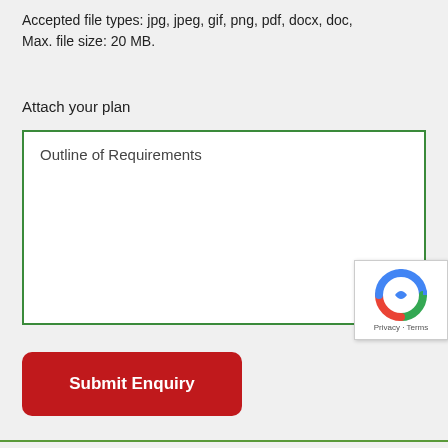Accepted file types: jpg, jpeg, gif, png, pdf, docx, doc, Max. file size: 20 MB.
Attach your plan
Outline of Requirements
[Figure (other): reCAPTCHA badge with Google Privacy and Terms links]
Submit Enquiry